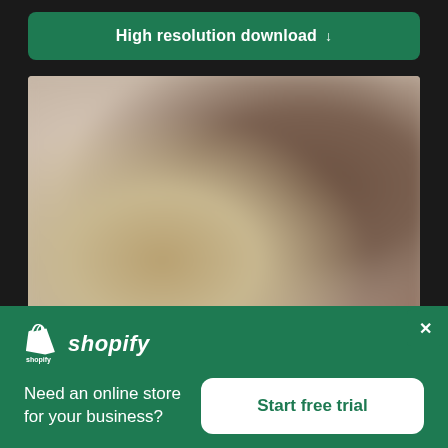High resolution download ↓
[Figure (photo): Blurred product photo showing what appears to be food items and a dark rectangular box/package on a light background]
×
[Figure (logo): Shopify logo - white shopping bag icon with 'S' and white italic text 'shopify']
Need an online store for your business?
Start free trial